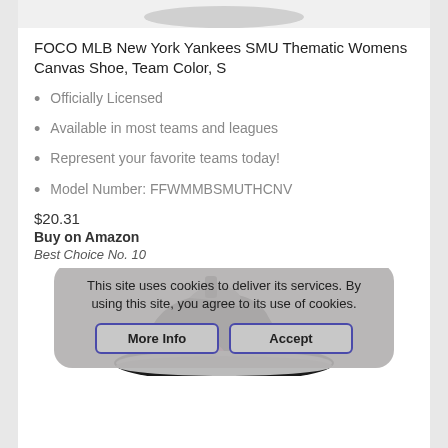FOCO MLB New York Yankees SMU Thematic Womens Canvas Shoe, Team Color, S
Officially Licensed
Available in most teams and leagues
Represent your favorite teams today!
Model Number: FFWMMBSMUTHCNV
$20.31
Buy on Amazon
Best Choice No. 10
[Figure (photo): FOCO MLB New York Yankees canvas shoe in team colors, partially visible at bottom of page]
This site uses cookies to deliver its services. By using this site, you agree to its use of cookies.
More Info | Accept